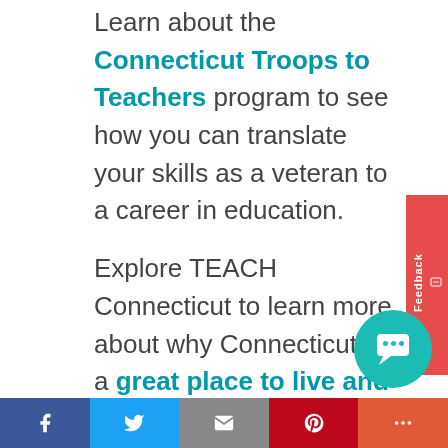Learn about the Connecticut Troops to Teachers program to see how you can translate your skills as a veteran to a career in education.
Explore TEACH Connecticut to learn more about why Connecticut is a great place to live and work, what compensation and benefits are like for CT teachers, and what scholarships and other financial opportunities await.
When you create an account, you a...
[Figure (other): Red Feedback tab on right side of page with chat icon]
[Figure (other): Teal circular chat bubble button in lower right]
[Figure (other): Social share bar at bottom with Facebook, Twitter, Email, Pinterest, and More buttons]